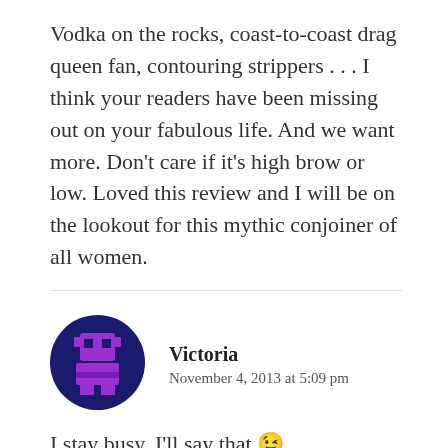Vodka on the rocks, coast-to-coast drag queen fan, contouring strippers . . . I think your readers have been missing out on your fabulous life. And we want more. Don’t care if it’s high brow or low. Loved this review and I will be on the lookout for this mythic conjoiner of all women.
[Figure (illustration): Pixel art avatar icon: circular dark navy blue background with a purple pixel-art robot/alien character in the center]
Victoria
November 4, 2013 at 5:09 pm
I stay busy, I’ll say that 😉
And then there are the wonderful perfumes like Shalimar which have connected women (and